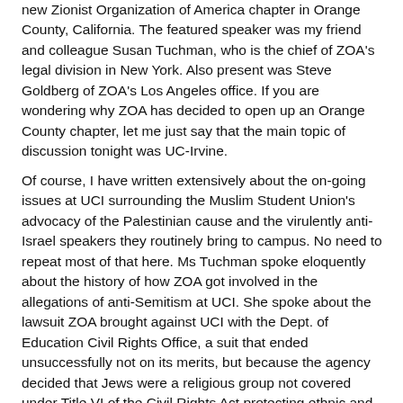new Zionist Organization of America chapter in Orange County, California. The featured speaker was my friend and colleague Susan Tuchman, who is the chief of ZOA's legal division in New York. Also present was Steve Goldberg of ZOA's Los Angeles office. If you are wondering why ZOA has decided to open up an Orange County chapter, let me just say that the main topic of discussion tonight was UC-Irvine.
Of course, I have written extensively about the on-going issues at UCI surrounding the Muslim Student Union's advocacy of the Palestinian cause and the virulently anti-Israel speakers they routinely bring to campus. No need to repeat most of that here. Ms Tuchman spoke eloquently about the history of how ZOA got involved in the allegations of anti-Semitism at UCI. She spoke about the lawsuit ZOA brought against UCI with the Dept. of Education Civil Rights Office, a suit that ended unsuccessfully not on its merits, but because the agency decided that Jews were a religious group not covered under Title VI of the Civil Rights Act protecting ethnic and racial minorities. The decision is still under appeal.